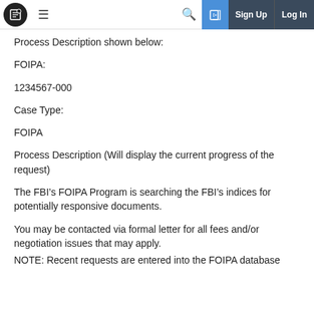Navigation bar with logo, menu, search, sign up, log in
Process Description shown below:
FOIPA:
1234567-000
Case Type:
FOIPA
Process Description (Will display the current progress of the request)
The FBI’s FOIPA Program is searching the FBI’s indices for potentially responsive documents.
You may be contacted via formal letter for all fees and/or negotiation issues that may apply.
NOTE: Recent requests are entered into the FOIPA database